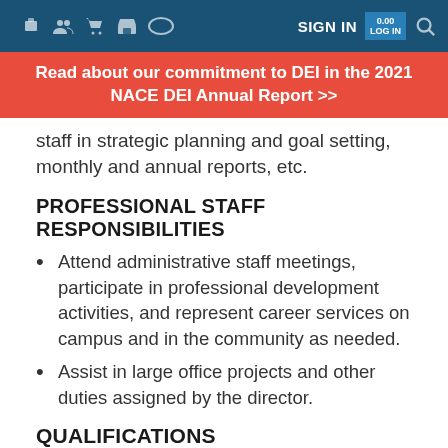SIGN IN
Read about our commitment to DEI in the 2021 NACE DEI Annual Report >>
staff in strategic planning and goal setting, monthly and annual reports, etc.
PROFESSIONAL STAFF RESPONSIBILITIES
Attend administrative staff meetings, participate in professional development activities, and represent career services on campus and in the community as needed.
Assist in large office projects and other duties assigned by the director.
QUALIFICATIONS
Education